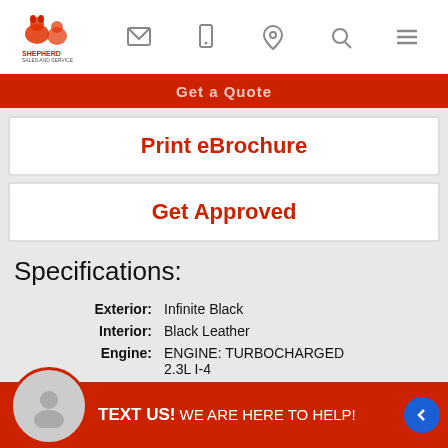[Figure (logo): Shepherd Sales and Service logo with animal mascots]
Print eBrochure
Get Approved
Specifications:
| Field | Value |
| --- | --- |
| Exterior: | Infinite Black |
| Interior: | Black Leather |
| Engine: | ENGINE: TURBOCHARGED 2.3L I-4 |
| Transmission: | Automatic |
| Drivetrain: | Awd |
| Mileage: | 24,846 |
| City / Hwy*: | 21 / 28 |
|  | *Actual rating will vary with options, driving conditions, habits and vehicle condition. |
| l: | 5LMC12DH3LUL00496 |
TEXT US! WE ARE HERE TO HELP!